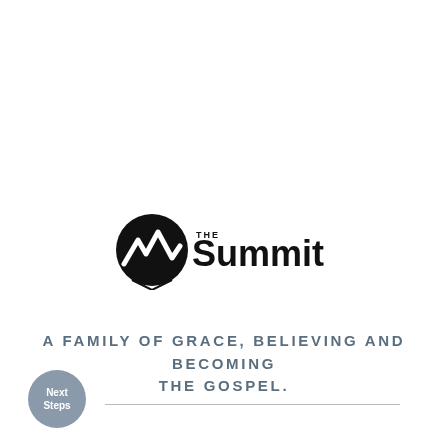[Figure (logo): The Summit church logo — black circle with mountain/zigzag icon on left, 'THE Summit' text on right in bold black font]
A FAMILY OF GRACE, BELIEVING AND BECOMING THE GOSPEL.
Next Steps